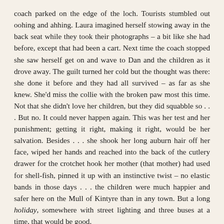coach parked on the edge of the loch. Tourists stumbled out oohing and ahhing. Laura imagined herself stowing away in the back seat while they took their photographs – a bit like she had before, except that had been a cart. Next time the coach stopped she saw herself get on and wave to Dan and the children as it drove away. The guilt turned her cold but the thought was there: she done it before and they had all survived – as far as she knew. She'd miss the collie with the broken paw most this time. Not that she didn't love her children, but they did squabble so . . . But no. It could never happen again. This was her test and her punishment; getting it right, making it right, would be her salvation. Besides . . . she shook her long auburn hair off her face, wiped her hands and reached into the back of the cutlery drawer for the crotchet hook her mother (that mother) had used for shell-fish, pinned it up with an instinctive twist – no elastic bands in those days . . . the children were much happier and safer here on the Mull of Kintyre than in any town. But a long holiday, somewhere with street lighting and three buses at a time, that would be good.
One afternoon, not long after they acquired a small television, Laura packed a few things in the abandoned suitcase. Clothes she hadn't worn for years – towny clothes she probably couldn't get into anymore. She put in some underwear and a nightgown. In case they could afford a holiday. There was a shout then a squeal. Gregor was pushing Alba's pet hedgehog around the front of the